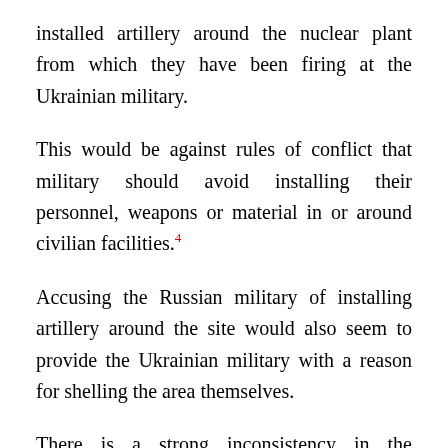installed artillery around the nuclear plant from which they have been firing at the Ukrainian military.
This would be against rules of conflict that military should avoid installing their personnel, weapons or material in or around civilian facilities.4
Accusing the Russian military of installing artillery around the site would also seem to provide the Ukrainian military with a reason for shelling the area themselves.
There is a strong inconsistency in the Ukrainian accusation, ignored by the media. We are asked to believe that the Russian military is shelling the facility